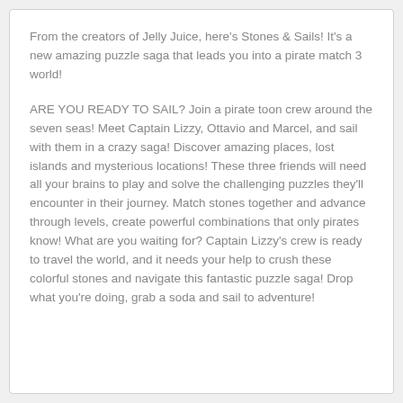From the creators of Jelly Juice, here's Stones & Sails! It's a new amazing puzzle saga that leads you into a pirate match 3 world!
ARE YOU READY TO SAIL? Join a pirate toon crew around the seven seas! Meet Captain Lizzy, Ottavio and Marcel, and sail with them in a crazy saga! Discover amazing places, lost islands and mysterious locations! These three friends will need all your brains to play and solve the challenging puzzles they'll encounter in their journey. Match stones together and advance through levels, create powerful combinations that only pirates know! What are you waiting for? Captain Lizzy's crew is ready to travel the world, and it needs your help to crush these colorful stones and navigate this fantastic puzzle saga! Drop what you're doing, grab a soda and sail to adventure!